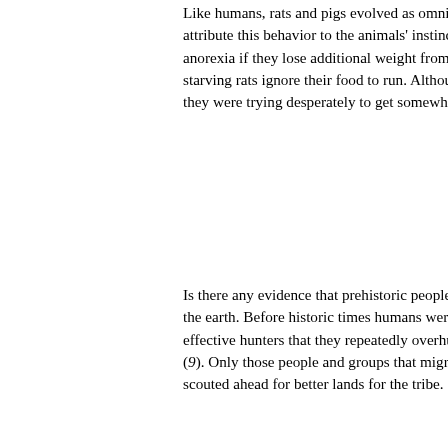Like humans, rats and pigs evolved as omnivorous foragers, and attribute this behavior to the animals' instinctive attempts to leave anorexia if they lose additional weight from the stress of maternal starving rats ignore their food to run. Although rats normally run l they were trying desperately to get somewhere. If allowed, these
Is there any evidence that prehistoric people really did travel long the earth. Before historic times humans were already more widely effective hunters that they repeatedly overhunted native prey pop (9). Only those people and groups that migrated colonized new w scouted ahead for better lands for the tribe.
Most prehistoric hunter-gatherers did not make it to the next cont populations of the rest of the world. According to molecular genet individuals (10). And, bands with anorexic members were appare common in Europeans and Asians, and appears to be most comm
Extreme Sport
Anorexics report feeling they are not supposed to eat. They feel a exercise, and it is remarkably difficult to reason with them about t talk of being “taken over” by the anorexia.  It is striking that peop